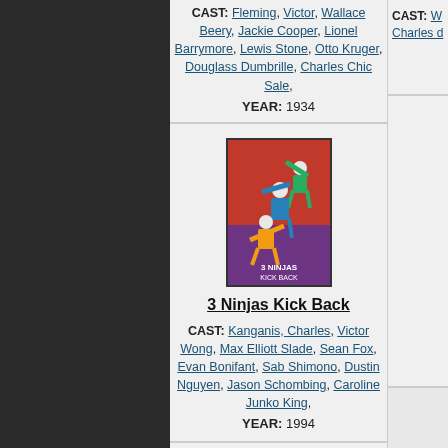CAST: Fleming, Victor, Wallace Beery, Jackie Cooper, Lionel Barrymore, Lewis Stone, Otto Kruger, Douglass Dumbrille, Charles Chic Sale, YEAR: 1934
[Figure (photo): Movie poster for 3 Ninjas Kick Back showing three ninja kids in martial arts poses against a red background]
3 Ninjas Kick Back
CAST: Kanganis, Charles, Victor Wong, Max Elliott Slade, Sean Fox, Evan Bonifant, Sab Shimono, Dustin Nguyen, Jason Schombing, Caroline Junko King, YEAR: 1994
[Figure (photo): Partial movie poster visible at the bottom of the page, appears to be a martial arts themed movie]